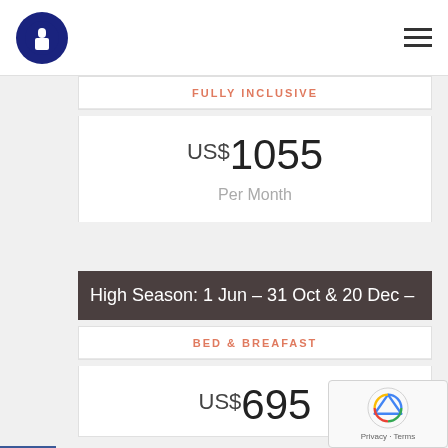Navigation bar with logo and hamburger menu
FULLY INCLUSIVE
US$1055
Per Month
High Season: 1 Jun – 31 Oct & 20 Dec –
BED & BREAFAST
US$695